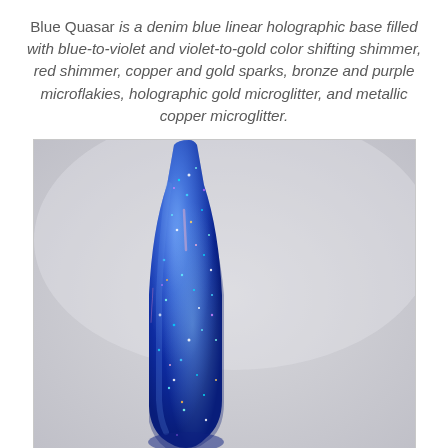Blue Quasar is a denim blue linear holographic base filled with blue-to-violet and violet-to-gold color shifting shimmer, red shimmer, copper and gold sparks, bronze and purple microflakies, holographic gold microglitter, and metallic copper microglitter.
[Figure (photo): Close-up photo of a nail polish bottle with a sparkling denim blue holographic glitter finish, showing the brush applicator and neck of the bottle against a light grey background]